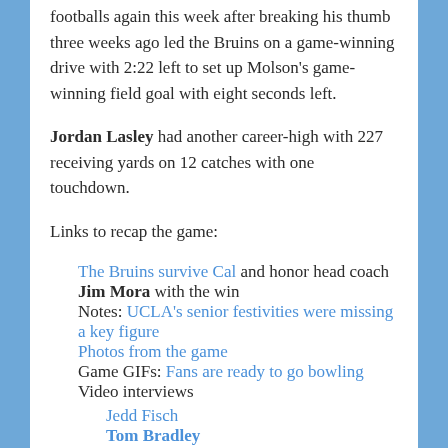footballs again this week after breaking his thumb three weeks ago led the Bruins on a game-winning drive with 2:22 left to set up Molson's game-winning field goal with eight seconds left.
Jordan Lasley had another career-high with 227 receiving yards on 12 catches with one touchdown.
Links to recap the game:
The Bruins survive Cal and honor head coach Jim Mora with the win
Notes: UCLA's senior festivities were missing a key figure
Photos from the game
Game GIFs: Fans are ready to go bowling
Video interviews
Jedd Fisch
Tom Bradley
Devon Modster
Jordan Lasley
Brandon Stephens